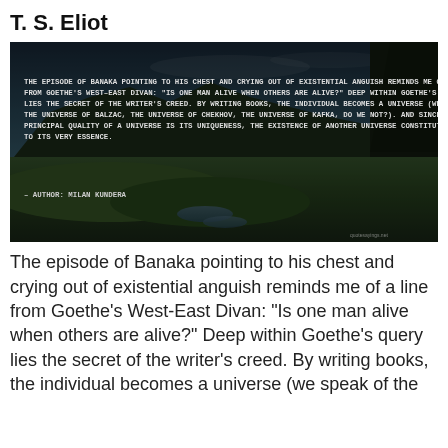T. S. Eliot
[Figure (photo): A scenic landscape photo with mountains, green fields, a river, and a dark sky overlay. Overlaid text contains a quote by Milan Kundera about Banaka, Goethe's West-East Divan, and the writer's creed. Attribution reads: – Author: Milan Kundera. Watermark: quotesayings.net]
The episode of Banaka pointing to his chest and crying out of existential anguish reminds me of a line from Goethe's West-East Divan: "Is one man alive when others are alive?" Deep within Goethe's query lies the secret of the writer's creed. By writing books, the individual becomes a universe (we speak of the